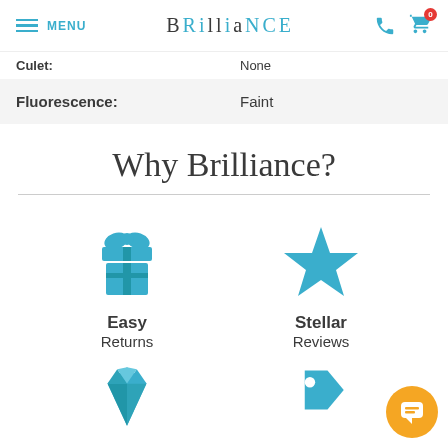MENU | BRILLIANCE | phone icon | cart icon (0)
| Culet: | None |
| Fluorescence: | Faint |
Why Brilliance?
[Figure (infographic): Gift box icon in blue for Easy Returns]
Easy
Returns
[Figure (infographic): Star icon in blue for Stellar Reviews]
Stellar
Reviews
[Figure (infographic): Diamond icon in blue (partially visible)]
[Figure (infographic): Price tag icon in blue (partially visible)]
[Figure (infographic): Chat bubble orange button at bottom right]